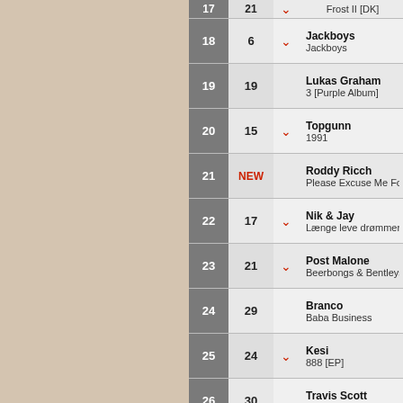| Rank | Prev | Movement | Artist / Album |
| --- | --- | --- | --- |
| 17 | 21 | ↓ | Frost II [DK] |
| 18 | 6 | ↓ | Jackboys / Jackboys |
| 19 | 19 |  | Lukas Graham / 3 [Purple Album] |
| 20 | 15 | ↓ | Topgunn / 1991 |
| 21 | NEW |  | Roddy Ricch / Please Excuse Me For Being Antisocial |
| 22 | 17 | ↓ | Nik & Jay / Længe leve drømmerne |
| 23 | 21 | ↓ | Post Malone / Beerbongs & Bentleys |
| 24 | 29 |  | Branco / Baba Business |
| 25 | 24 | ↓ | Kesi / 888 [EP] |
| 26 | 30 |  | Travis Scott / Astroworld |
| 27 |  |  | Juice Wrld |